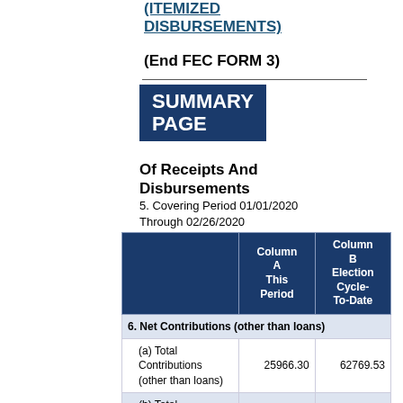(ITEMIZED DISBURSEMENTS)
(End FEC FORM 3)
SUMMARY PAGE
Of Receipts And Disbursements
5. Covering Period 01/01/2020 Through 02/26/2020
|  | Column A This Period | Column B Election Cycle-To-Date |
| --- | --- | --- |
| 6. Net Contributions (other than loans) |  |  |
| (a) Total Contributions (other than loans) | 25966.30 | 62769.53 |
| (b) Total |  |  |